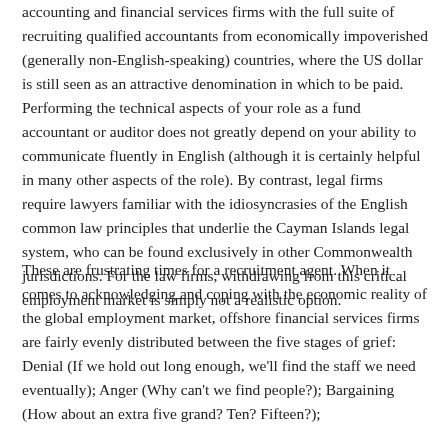accounting and financial services firms with the full suite of recruiting qualified accountants from economically impoverished (generally non-English-speaking) countries, where the US dollar is still seen as an attractive denomination in which to be paid. Performing the technical aspects of your role as a fund accountant or auditor does not greatly depend on your ability to communicate fluently in English (although it is certainly helpful in many other aspects of the role). By contrast, legal firms require lawyers familiar with the idiosyncrasies of the English common law principles that underlie the Cayman Islands legal system, who can be found exclusively in other Commonwealth jurisdictions. For the law firms, withdrawing from this critical employment market is simply not a realistic option.
These are frustrating times for a recruitment agent. When it comes to acknowledging and coping with the economic reality of the global employment market, offshore financial services firms are fairly evenly distributed between the five stages of grief: Denial (If we hold out long enough, we'll find the staff we need eventually); Anger (Why can't we find people?); Bargaining (How about an extra five grand? Ten? Fifteen?); Depression (It'll never find good people.) and finally Acceptance (Re-